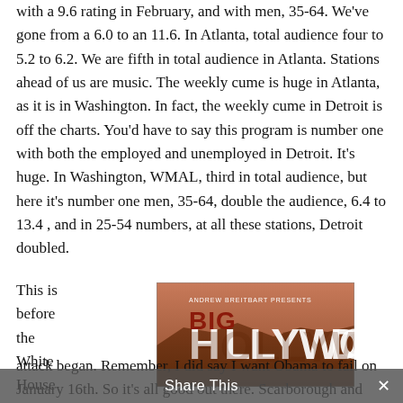with a 9.6 rating in February, and with men, 35-64. We've gone from a 6.0 to an 11.6. In Atlanta, total audience four to 5.2 to 6.2. We are fifth in total audience in Atlanta. Stations ahead of us are music. The weekly cume is huge in Atlanta, as it is in Washington. In fact, the weekly cume in Detroit is off the charts. You'd have to say this program is number one with both the employed and unemployed in Detroit. It's huge. In Washington, WMAL, third in total audience, but here it's number one men, 35-64, double the audience, 6.4 to 13.4 , and in 25-54 numbers, at all these stations, Detroit doubled.
This is before the White House
[Figure (logo): Andrew Breitbart Presents Big Hollywood sign logo — Hollywood sign styled graphic with BIG text in red]
attack began. Remember, I did say I want Obama to fail on January 16th. So it's all good out there. Scarborough and these people are right. Share This are elevating me. By the way the White House, they're fine with this. They are
Share This ×